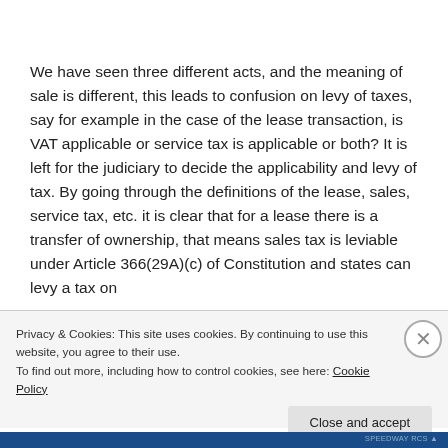We have seen three different acts, and the meaning of sale is different, this leads to confusion on levy of taxes, say for example in the case of the lease transaction, is VAT applicable or service tax is applicable or both? It is left for the judiciary to decide the applicability and levy of tax. By going through the definitions of the lease, sales, service tax, etc. it is clear that for a lease there is a transfer of ownership, that means sales tax is leviable under Article 366(29A)(c) of Constitution and states can levy a tax on
Privacy & Cookies: This site uses cookies. By continuing to use this website, you agree to their use.
To find out more, including how to control cookies, see here: Cookie Policy
Close and accept